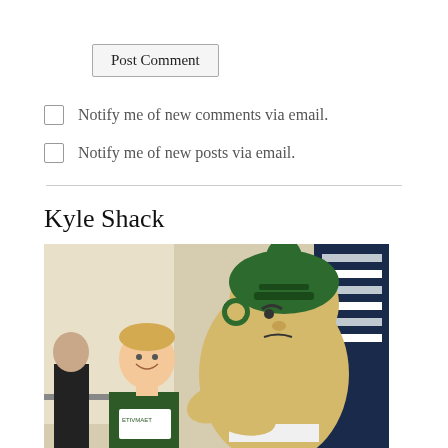Post Comment
Notify me of new comments via email.
Notify me of new posts via email.
Kyle Shack
[Figure (photo): A young man smiling standing next to an inflatable Sparty (Michigan State Spartan mascot) figure in a convention or event hall. The man wears a green and white shirt with 'ETIVMAET' text. Background shows event booths and curtains.]